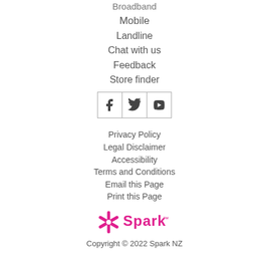Broadband
Mobile
Landline
Chat with us
Feedback
Store finder
[Figure (other): Social media icons: Facebook, Twitter, YouTube in bordered boxes]
Privacy Policy
Legal Disclaimer
Accessibility
Terms and Conditions
Email this Page
Print this Page
[Figure (logo): Spark NZ logo with pink asterisk/star and 'Spark™' text in pink]
Copyright © 2022 Spark NZ